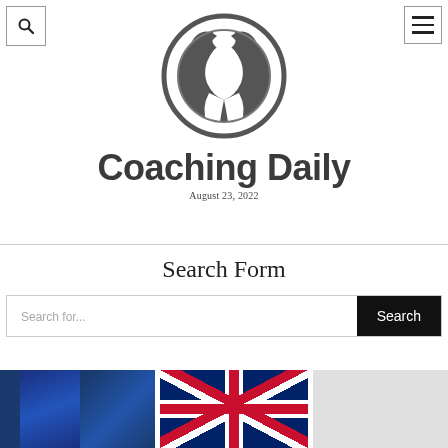[Figure (logo): Coaching Daily website header with circular coaching figure logo, site title 'Coaching Daily', date 'August 23, 2022', search icon button top-left, hamburger menu button top-right]
Search Form
Search for...
[Figure (photo): Bottom strip showing partial images: left dark blue flag, center UK Union Jack flag, right partial grey image]